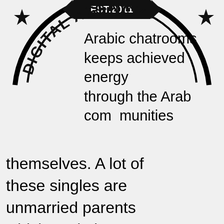[Figure (logo): Circular stamp logo with 'EST. 2011' banner at top, two stars on sides, and 'DIGITAL AGENCY' text curved at the bottom in bold black lettering on a circular arc]
Arabic chatrooms keeps achieved energy through the Arab communities themselves. A lot of these singles are unmarried parents which seek the companionship of some other experienced person men inside their